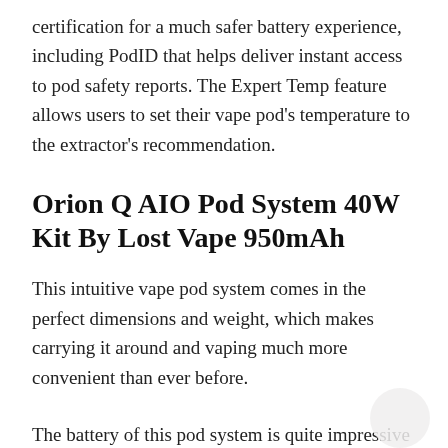certification for a much safer battery experience, including PodID that helps deliver instant access to pod safety reports. The Expert Temp feature allows users to set their vape pod's temperature to the extractor's recommendation.
Orion Q AIO Pod System 40W Kit By Lost Vape 950mAh
This intuitive vape pod system comes in the perfect dimensions and weight, which makes carrying it around and vaping much more convenient than ever before.
The battery of this pod system is quite impressive too- you get a 950mAh internal battery with a 40W max